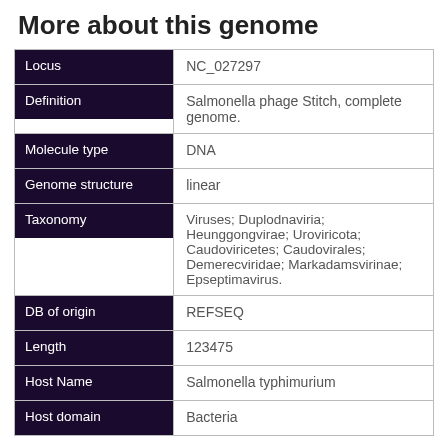More about this genome
| Field | Value |
| --- | --- |
| Locus | NC_027297 |
| Definition | Salmonella phage Stitch, complete genome. |
| Molecule type | DNA |
| Genome structure | linear |
| Taxonomy | Viruses; Duplodnaviria; Heunggongvirae; Uroviricota; Caudoviricetes; Caudovirales; Demerecviridae; Markadamsvirinae; Epseptimavirus. |
| DB of origin | REFSEQ |
| Length | 123475 |
| Host Name | Salmonella typhimurium |
| Host domain | Bacteria |